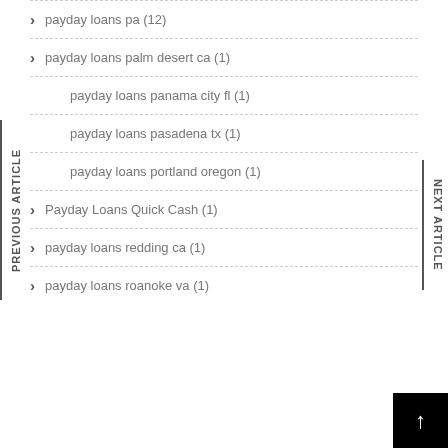payday loans pa (12)
payday loans palm desert ca (1)
payday loans panama city fl (1)
payday loans pasadena tx (1)
payday loans portland oregon (1)
Payday Loans Quick Cash (1)
payday loans redding ca (1)
payday loans roanoke va (1)